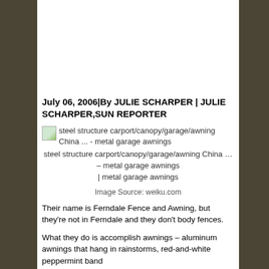July 06, 2006|By JULIE SCHARPER | JULIE SCHARPER,SUN REPORTER
[Figure (photo): Broken image placeholder with alt text: steel structure carport/canopy/garage/awning China ... - metal garage awnings]
steel structure carport/canopy/garage/awning China … – metal garage awnings
| metal garage awnings
Image Source: weiku.com
Their name is Ferndale Fence and Awning, but they're not in Ferndale and they don't body fences.
What they do is accomplish awnings – aluminum awnings that hang in rainstorms, red-and-white peppermint band